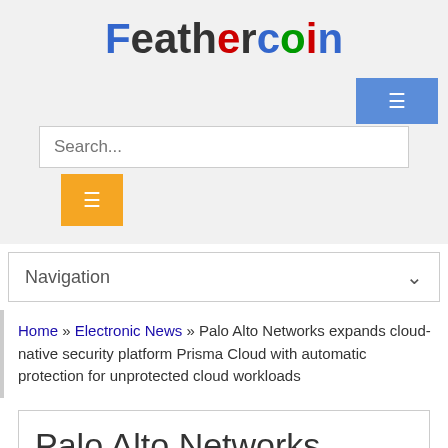Feathercoin
[Figure (screenshot): Search bar with blue button on the right and yellow search button below]
Navigation
Home » Electronic News » Palo Alto Networks expands cloud-native security platform Prisma Cloud with automatic protection for unprotected cloud workloads
Palo Alto Networks expands cloud-native security platform Prisma